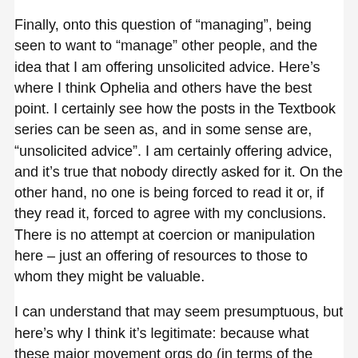Finally, onto this question of “managing”, being seen to want to “manage” other people, and the idea that I am offering unsolicited advice. Here’s where I think Ophelia and others have the best point. I certainly see how the posts in the Textbook series can be seen as, and in some sense are, “unsolicited advice”. I am certainly offering advice, and it’s true that nobody directly asked for it. On the other hand, no one is being forced to read it or, if they read it, forced to agree with my conclusions. There is no attempt at coercion or manipulation here – just an offering of resources to those to whom they might be valuable.
I can understand that may seem presumptuous, but here’s why I think it’s legitimate: because what these major movement orgs do (in terms of the persuasive efforts) affects the movement as a whole, and I consider myself part of the movement, and so it affect me and the organization I work for. AA’s slave billboard reflects on me as an atheist trying to reduce stigma against atheists in America, and does so rather directly. Bigoted comments